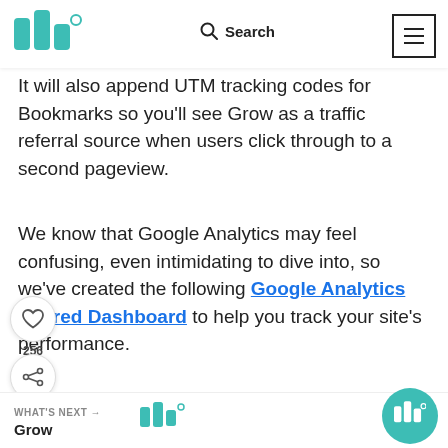Mediavine | Search | Menu
It will also append UTM tracking codes for Bookmarks so you'll see Grow as a traffic referral source when users click through to a second pageview.
We know that Google Analytics may feel confusing, even intimidating to dive into, so we've created the following Google Analytics Shared Dashboard to help you track your site's performance.
stall it, just click the link above, select the Google Analytics view you usually use and name the dashboard.
WHAT'S NEXT → Grow